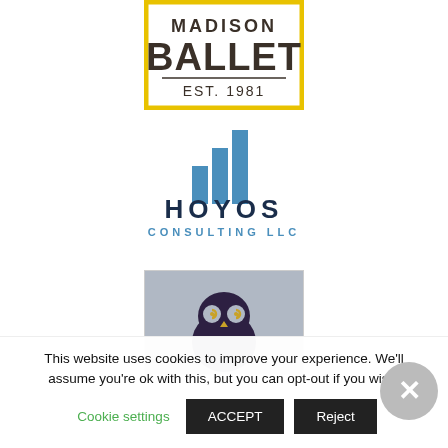[Figure (logo): Madison Ballet EST. 1981 logo — text in dark brown/black with yellow border box]
[Figure (logo): Hoyos Consulting LLC logo — blue bar chart icon above dark navy HOYOS text and blue CONSULTING LLC text]
[Figure (logo): Owl logo — stylized dark purple owl with golden swirl eyes on grey-blue background inside a bordered box]
This website uses cookies to improve your experience. We'll assume you're ok with this, but you can opt-out if you wish.
Cookie settings   ACCEPT   Reject